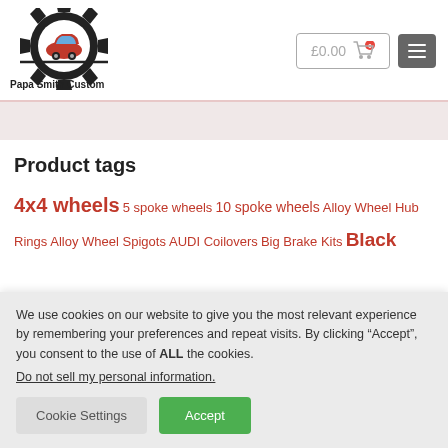[Figure (logo): Papa Smith Custom logo with gear and red car silhouette, with text 'Papa Smith Custom' below]
Product tags
4x4 wheels 5 spoke wheels 10 spoke wheels Alloy Wheel Hub Rings Alloy Wheel Spigots AUDI Coilovers Big Brake Kits Black
We use cookies on our website to give you the most relevant experience by remembering your preferences and repeat visits. By clicking “Accept”, you consent to the use of ALL the cookies.
Do not sell my personal information.
Cookie Settings
Accept